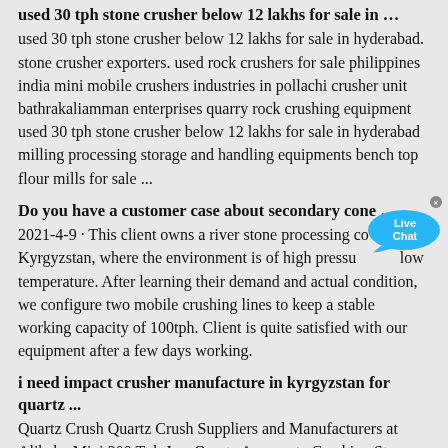used 30 tph stone crusher below 12 lakhs for sale in …
used 30 tph stone crusher below 12 lakhs for sale in hyderabad. stone crusher exporters. used rock crushers for sale philippines india mini mobile crushers industries in pollachi crusher unit bathrakaliamman enterprises quarry rock crushing equipment used 30 tph stone crusher below 12 lakhs for sale in hyderabad milling processing storage and handling equipments bench top flour mills for sale ...
Do you have a customer case about secondary cone …
2021-4-9 · This client owns a river stone processing company in Kyrgyzstan, where the environment is of high pressure low temperature. After learning their demand and actual condition, we configure two mobile crushing lines to keep a stable working capacity of 100tph. Client is quite satisfied with our equipment after a few days working.
i need impact crusher manufacture in kyrgyzstan for quartz ...
Quartz Crush Quartz Crush Suppliers and Manufacturers at Alibaba Mini 200 Tph Jaw Quartz Aggregate Crushing Stone Machine Crusher Production Line Plant Price For Sale Ad US $4699 28999 / Set 1 Set (Min Order) Henan. quartz powder machinery supplier …
hammer crusher kyrgyzstan
Hammer Mill Crusher Flsfrom Kyrgyzstan - Hammer Crusher. Hammer Hammer Crusher Power Calculationsin Kyrgyzstan.